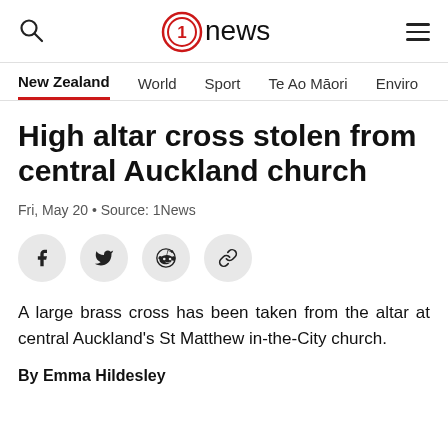1news
New Zealand | World | Sport | Te Ao Māori | Enviro
High altar cross stolen from central Auckland church
Fri, May 20 • Source: 1News
[Figure (other): Social share buttons: Facebook, Twitter, Reddit, Copy Link]
A large brass cross has been taken from the altar at central Auckland's St Matthew in-the-City church.
By Emma Hildesley